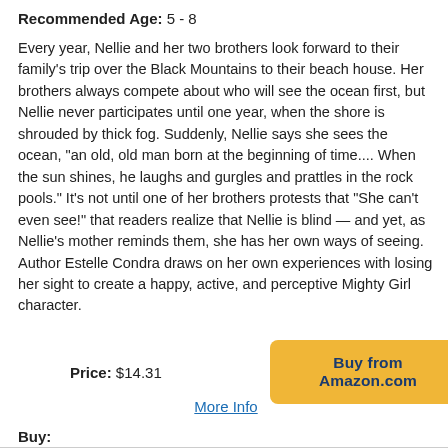Recommended Age: 5 - 8
Every year, Nellie and her two brothers look forward to their family's trip over the Black Mountains to their beach house. Her brothers always compete about who will see the ocean first, but Nellie never participates until one year, when the shore is shrouded by thick fog. Suddenly, Nellie says she sees the ocean, "an old, old man born at the beginning of time.... When the sun shines, he laughs and gurgles and prattles in the rock pools." It's not until one of her brothers protests that "She can't even see!" that readers realize that Nellie is blind — and yet, as Nellie's mother reminds them, she has her own ways of seeing. Author Estelle Condra draws on her own experiences with losing her sight to create a happy, active, and perceptive Mighty Girl character.
Price: $14.31
Buy from Amazon.com
More Info
Buy: